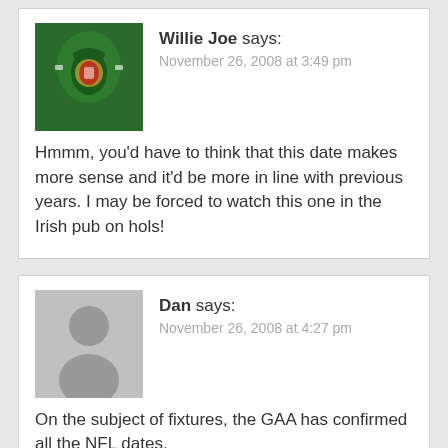[Figure (photo): Avatar photo of Willie Joe showing a green GAA jersey with a county crest badge]
Willie Joe says:
November 26, 2008 at 3:49 pm
Hmmm, you'd have to think that this date makes more sense and it'd be more in line with previous years. I may be forced to watch this one in the Irish pub on hols!
[Figure (illustration): Generic grey silhouette avatar for Dan]
Dan says:
November 26, 2008 at 4:27 pm
On the subject of fixtures, the GAA has confirmed all the NFL dates.
All are as per the provisional list, except the trip to Kerry. That's been moved from the Saturday night to the Sunday afternoon. The floodlights must be needed at Farranfore airport Saturday night